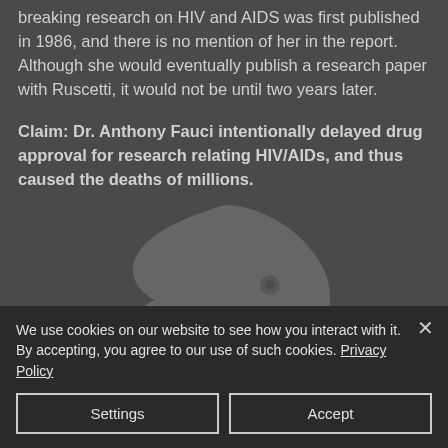breaking research on HIV and AIDS was first published in 1986, and there is no mention of her in the report. Although she would eventually publish a research paper with Ruscetti, it would not be until two years later.
[Figure (logo): Eagle head logo/watermark in light gray]
Claim: Dr. Anthony Fauci intentionally delayed drug approval for research relating HIV/AIDs, and thus caused the deaths of millions.
We use cookies on our website to see how you interact with it. By accepting, you agree to our use of such cookies. Privacy Policy
Settings
Accept